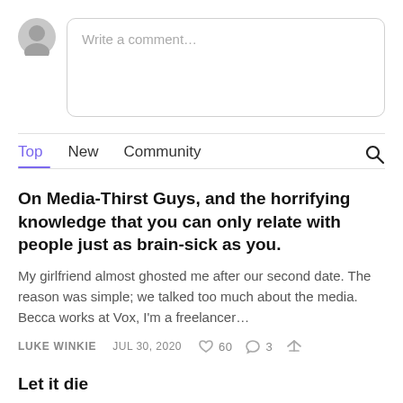[Figure (illustration): Comment input area with a gray avatar circle on the left and a rounded rectangle text input box on the right with placeholder text 'Write a comment...']
Top  New  Community
On Media-Thirst Guys, and the horrifying knowledge that you can only relate with people just as brain-sick as you.
My girlfriend almost ghosted me after our second date. The reason was simple; we talked too much about the media. Becca works at Vox, I'm a freelancer…
LUKE WINKIE   JUL 30, 2020   ♡ 60   💬 3   ↗
Let it die